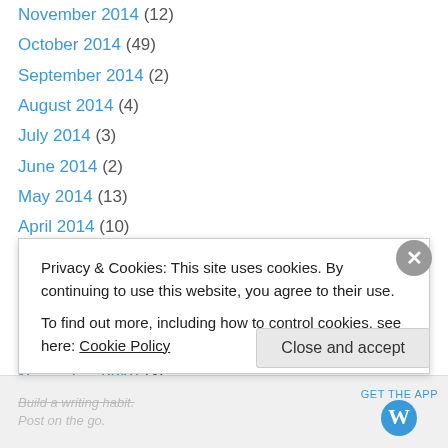November 2014 (12)
October 2014 (49)
September 2014 (2)
August 2014 (4)
July 2014 (3)
June 2014 (2)
May 2014 (13)
April 2014 (10)
March 2014 (3)
February 2014 (13)
January 2014 (13)
December 2013 (11)
November 2013 (4)
October 2013 (0)
Privacy & Cookies: This site uses cookies. By continuing to use this website, you agree to their use. To find out more, including how to control cookies, see here: Cookie Policy
Close and accept
Build a writing habit. Post on the go.
GET THE APP